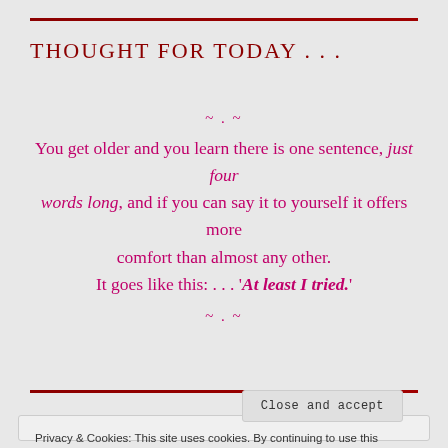THOUGHT FOR TODAY . . .
~ . ~
You get older and you learn there is one sentence, just four words long, and if you can say it to yourself it offers more comfort than almost any other.
It goes like this: . . . 'At least I tried.'
~ . ~
Privacy & Cookies: This site uses cookies. By continuing to use this website, you agree to their use.
To find out more, including how to control cookies, see here: Cookie Policy
Close and accept